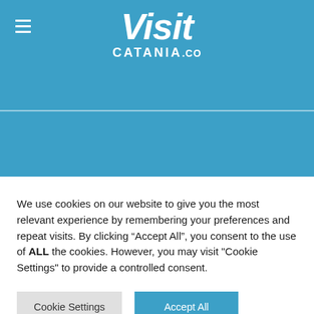[Figure (logo): Visit Catania .co logo in white text on blue background with hamburger menu icon]
We use cookies on our website to give you the most relevant experience by remembering your preferences and repeat visits. By clicking “Accept All”, you consent to the use of ALL the cookies. However, you may visit "Cookie Settings" to provide a controlled consent.
Cookie Settings
Accept All